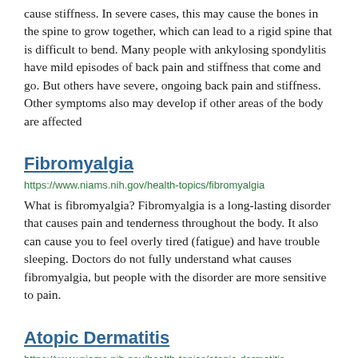cause stiffness. In severe cases, this may cause the bones in the spine to grow together, which can lead to a rigid spine that is difficult to bend. Many people with ankylosing spondylitis have mild episodes of back pain and stiffness that come and go. But others have severe, ongoing back pain and stiffness. Other symptoms also may develop if other areas of the body are affected
Fibromyalgia
https://www.niams.nih.gov/health-topics/fibromyalgia
What is fibromyalgia? Fibromyalgia is a long-lasting disorder that causes pain and tenderness throughout the body. It also can cause you to feel overly tired (fatigue) and have trouble sleeping. Doctors do not fully understand what causes fibromyalgia, but people with the disorder are more sensitive to pain.
Atopic Dermatitis
https://www.niams.nih.gov/health-topics/atopic-dermatitis
What is atopic dermatitis? Atopic dermatitis, often called eczema, is a chronic (long-lasting) disease that causes the skin to become inflamed and irritated, making it extremely itchy. Scratching leads to: Redness. Swelling. Cracking. “Weeping” clear fluid. Crusting. Scaling. In most cases, there are times when the disease is worse, called